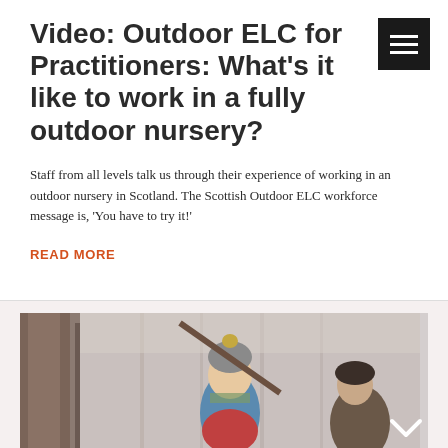Video: Outdoor ELC for Practitioners: What's it like to work in a fully outdoor nursery?
Staff from all levels talk us through their experience of working in an outdoor nursery in Scotland. The Scottish Outdoor ELC workforce message is, 'You have to try it!'
READ MORE
[Figure (photo): A child wearing a grey pom-pom hat and colorful jacket climbs or plays outdoors in a woodland setting. An adult figure is visible in the background to the right. Trees are visible in the background.]